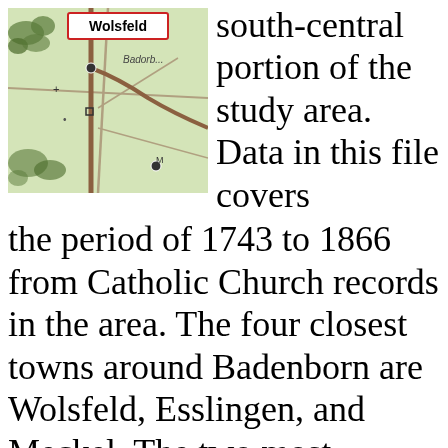[Figure (map): A topographic/road map excerpt showing the area around Wolsfeld and Badenborn, with roads, settlements, and forested areas marked. The label 'Wolsfeld' is shown in a red-outlined box, and 'Badorb...' is partially visible.]
south-central portion of the study area. Data in this file covers the period of 1743 to 1866 from Catholic Church records in the area. The four closest towns around Badenborn are Wolsfeld, Esslingen, and Meckel. The two most common names in this file are Begon and Billen. There are 40 names in this file. If you want